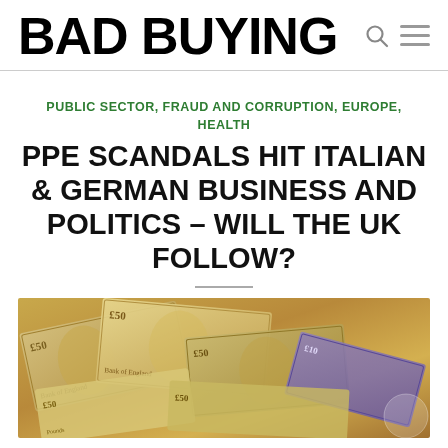BAD BUYING
PUBLIC SECTOR, FRAUD AND CORRUPTION, EUROPE, HEALTH
PPE SCANDALS HIT ITALIAN & GERMAN BUSINESS AND POLITICS – WILL THE UK FOLLOW?
[Figure (photo): A pile of British pound banknotes (£50 and £10 notes) scattered on a surface, showing portraits of the Queen]